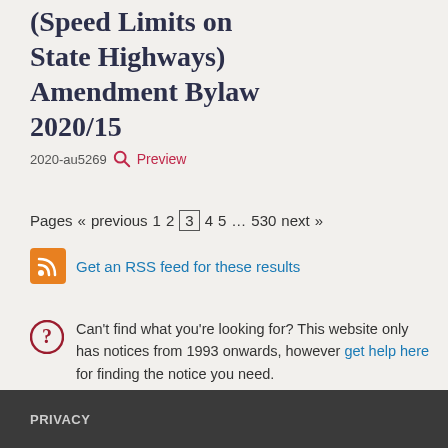(Speed Limits on State Highways) Amendment Bylaw 2020/15
2020-au5269  Preview
Pages « previous 1 2 3 4 5 … 530 next »
Get an RSS feed for these results
Can't find what you're looking for? This website only has notices from 1993 onwards, however get help here for finding the notice you need.
PRIVACY